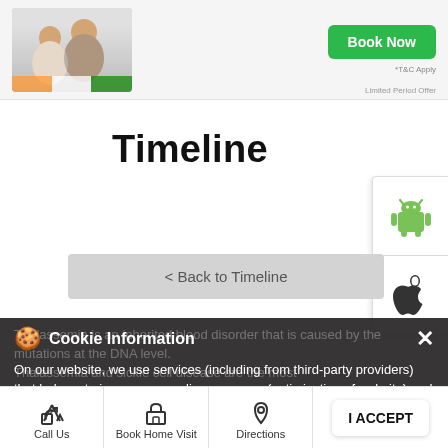[Figure (screenshot): Top banner with family photo, Book Now button, *T&C Apply and Limited Period Offer text]
Timeline
[Figure (logo): Android app store button (green Android robot icon)]
[Figure (logo): Apple app store button (Apple logo icon)]
< Back to Timeline
Cookie Information
On our website, we use services (including from third-party providers) that help us to improve our online presence (optimization of website) and to display content that is geared to their interests. We need your consent before being able to use these services.
Thalassemia is an inherited blood disorder that is caused by the mutations at the DNA level. Thalassemia and sickle cell disease are the most common haemoglobin disorders. It is estimated that there are about 10,000 to 15,000 babies are born every year across the
Call Us
Book Home Visit
Directions
I ACCEPT